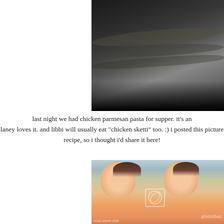[Figure (photo): Top portion of a photo showing dark fabric/clothing texture with gradient lighting, partially cut off at top of page]
last night we had chicken parmesan pasta for supper. it's an laney loves it. and libbi will usually eat "chicken sketti" too. :) i posted this picture recipe, so i thought i'd share it here!
[Figure (photo): Two side-by-side photos of a baby/toddler sitting in a high chair eating, wearing an orange outfit. Photos have a Photobucket watermark with logo and 'host.store.share' text.]